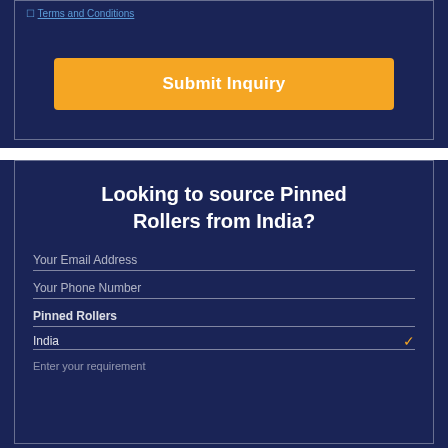I agree to Terms and Conditions
[Figure (screenshot): Submit Inquiry orange button on dark navy background]
Looking to source Pinned Rollers from India?
Your Email Address
Your Phone Number
Pinned Rollers
India
Enter your requirement